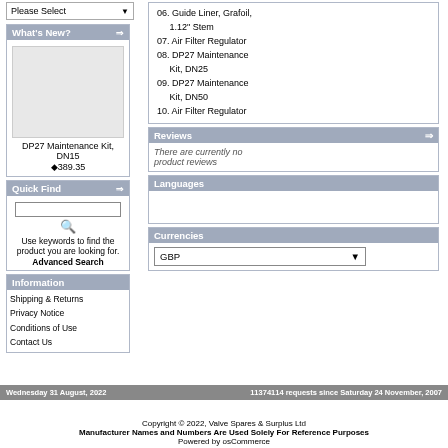Please Select
What's New?
DP27 Maintenance Kit, DN15
◆389.35
Quick Find
Use keywords to find the product you are looking for.
Advanced Search
Information
Shipping & Returns
Privacy Notice
Conditions of Use
Contact Us
06. Guide Liner, Grafoil, 1.12" Stem
07. Air Filter Regulator
08. DP27 Maintenance Kit, DN25
09. DP27 Maintenance Kit, DN50
10. Air Filter Regulator
Reviews
There are currently no product reviews
Languages
Currencies
GBP
Wednesday 31 August, 2022   11374114 requests since Saturday 24 November, 2007
Copyright © 2022, Valve Spares & Surplus Ltd
Manufacturer Names and Numbers Are Used Solely For Reference Purposes
Powered by osCommerce